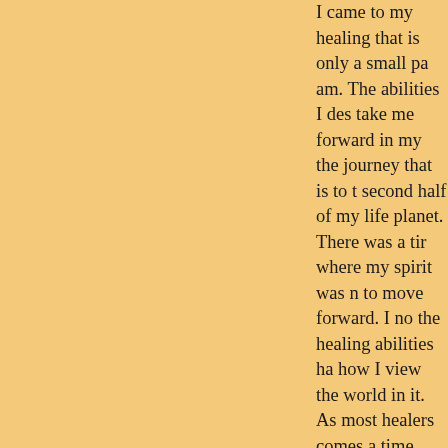I came to my healing that is only a small pa am. The abilities I des take me forward in my the journey that is to t second half of my life planet. There was a tir where my spirit was n to move forward. I no the healing abilities ha how I view the world in it. As most healers comes a time when ou of service comes out a accommodation. Man experience periods of and our health suffers want and need to help enters into our circle. some very hard lessor experiences.

For me the experience husband left me in a s doubt that made me w